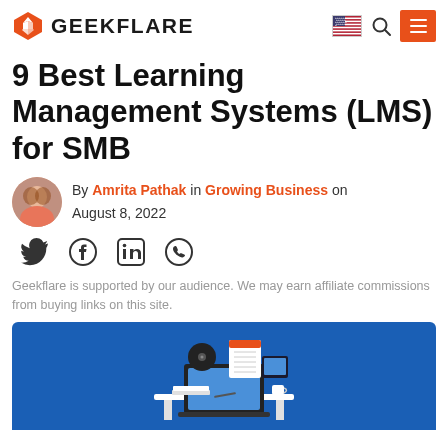GEEKFLARE
9 Best Learning Management Systems (LMS) for SMB
By Amrita Pathak in Growing Business on August 8, 2022
[Figure (illustration): Social share icons: Twitter, Facebook, LinkedIn, WhatsApp]
Geekflare is supported by our audience. We may earn affiliate commissions from buying links on this site.
[Figure (illustration): Blue banner with illustration of a desk setup with laptop, calendar, books, and office items]